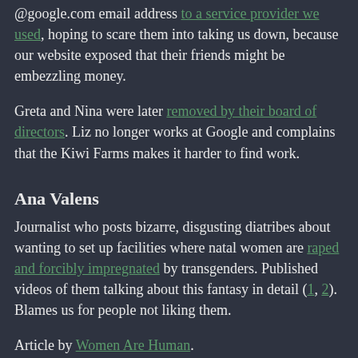@google.com email address to a service provider we used, hoping to scare them into taking us down, because our website exposed that their friends might be embezzling money.
Greta and Nina were later removed by their board of directors. Liz no longer works at Google and complains that the Kiwi Farms makes it harder to find work.
Ana Valens
Journalist who posts bizarre, disgusting diatribes about wanting to set up facilities where natal women are raped and forcibly impregnated by transgenders. Published videos of them talking about this fantasy in detail (1, 2). Blames us for people not liking them.
Article by Women Are Human.